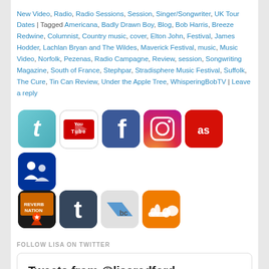New Video, Radio, Radio Sessions, Session, Singer/Songwriter, UK Tour Dates | Tagged Americana, Badly Drawn Boy, Blog, Bob Harris, Breeze Redwine, Columnist, Country music, cover, Elton John, Festival, James Hodder, Lachlan Bryan and The Wildes, Maverick Festival, music, Music Video, Norfolk, Pezenas, Radio Campagne, Review, session, Songwriting Magazine, South of France, Stephpar, Stradisphere Music Festival, Suffolk, The Cure, Tin Can Review, Under the Apple Tree, WhisperingBobTV | Leave a reply
[Figure (other): Social media icon buttons: Twitter, YouTube, Facebook, Instagram, Last.fm, MySpace (row 1); ReverbNation, Tumblr, Bandcamp, SoundCloud (row 2)]
FOLLOW LISA ON TWITTER
Tweets from @lisaredford